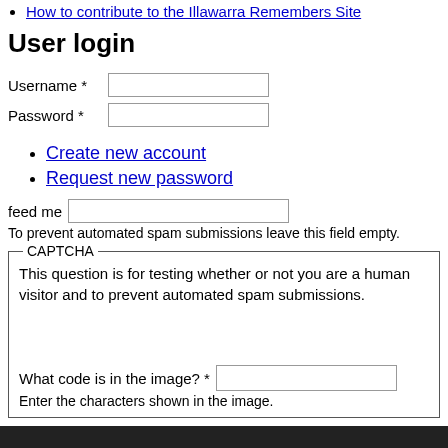How to contribute to the Illawarra Remembers Site
User login
Username *
Password *
Create new account
Request new password
feed me
To prevent automated spam submissions leave this field empty.
CAPTCHA
This question is for testing whether or not you are a human visitor and to prevent automated spam submissions.
What code is in the image? *
Enter the characters shown in the image.
Log in